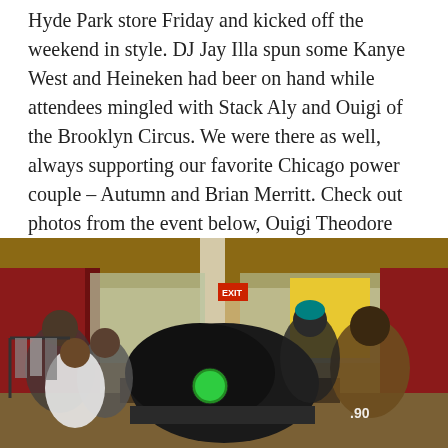Hyde Park store Friday and kicked off the weekend in style. DJ Jay Illa spun some Kanye West and Heineken had beer on hand while attendees mingled with Stack Aly and Ouigi of the Brooklyn Circus. We were there as well, always supporting our favorite Chicago power couple – Autumn and Brian Merritt. Check out photos from the event below, Ouigi Theodore talking about PF Flyers, and shop Sir & Madame here.
[Figure (photo): Indoor store event photo showing a large black high-top sneaker with a green circular logo displayed on a table in the foreground, with a crowd of people mingling in a warmly lit store in the background. Red curtains, a yellow poster, and clothing racks are visible.]